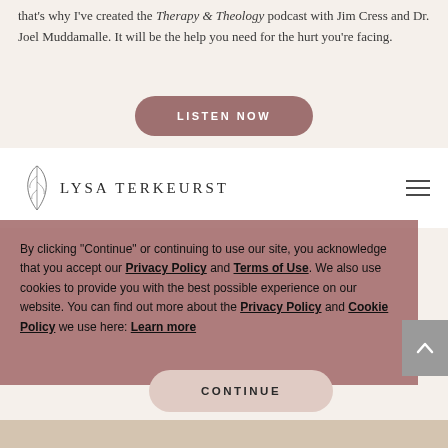that's why I've created the Therapy & Theology podcast with Jim Cress and Dr. Joel Muddamalle. It will be the help you need for the hurt you're facing.
[Figure (other): LISTEN NOW button — rounded rectangle button with mauve/rose background]
[Figure (logo): Lysa TerKeurst logo with decorative leaf/botanical illustration and text LYSA TERKEURST, with hamburger menu icon on right]
By clicking "Continue" or continuing to use our site, you acknowledge that you accept our Privacy Policy and Terms of Use. We also use cookies to provide you with the best possible experience on our website. You can find out more about the Privacy Policy and Cookie Policy we use here: Learn more
[Figure (other): CONTINUE button — rounded rectangle button with light pink/blush background]